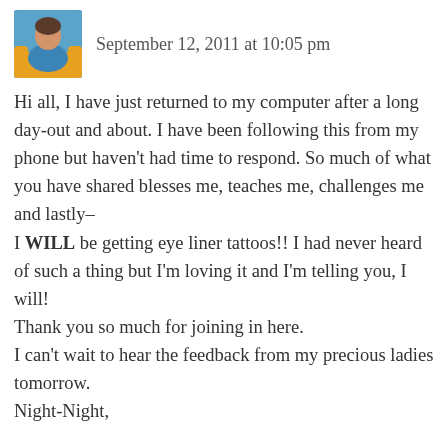[Figure (photo): Small avatar photo of a person wearing a blue top and yellow clothing, cropped square thumbnail]
September 12, 2011 at 10:05 pm
Hi all, I have just returned to my computer after a long day-out and about. I have been following this from my phone but haven't had time to respond. So much of what you have shared blesses me, teaches me, challenges me and lastly–
I WILL be getting eye liner tattoos!! I had never heard of such a thing but I'm loving it and I'm telling you, I will!
Thank you so much for joining in here.
I can't wait to hear the feedback from my precious ladies tomorrow.
Night-Night,